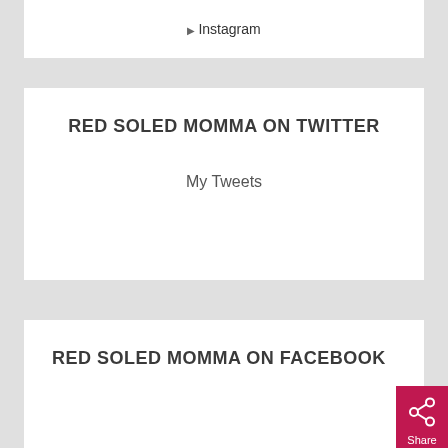[Figure (screenshot): Instagram image placeholder with broken image icon and text 'Instagram']
RED SOLED MOMMA ON TWITTER
My Tweets
RED SOLED MOMMA ON FACEBOOK
[Figure (other): Red share button with network/share icon and 'Share' label]